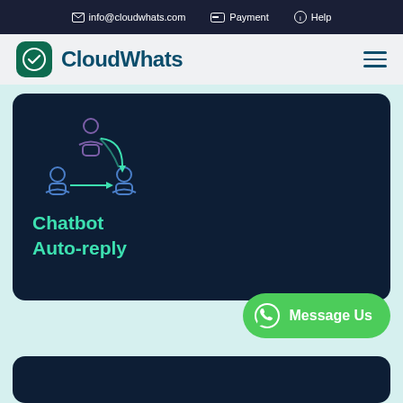info@cloudwhats.com  Payment  Help
[Figure (logo): CloudWhats logo with green rounded square icon containing a checkmark, and the text CloudWhats in dark teal]
[Figure (illustration): Icon showing three people figures arranged in a cycle with arrows, representing chatbot auto-reply workflow, in blue/teal outline style on dark navy background]
Chatbot Auto-reply
[Figure (illustration): Green rounded button with WhatsApp icon and text Message Us]